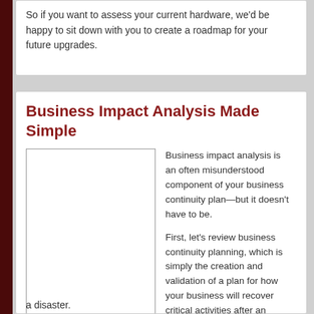So if you want to assess your current hardware, we'd be happy to sit down with you to create a roadmap for your future upgrades.
Business Impact Analysis Made Simple
[Figure (illustration): Blank white rectangular image placeholder with a thin border]
Business impact analysis is an often misunderstood component of your business continuity plan—but it doesn't have to be.
First, let's review business continuity planning, which is simply the creation and validation of a plan for how your business will recover critical activities after an extended disruption, such as a disaster.